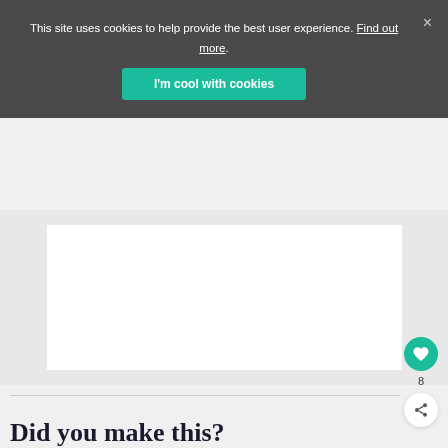This site uses cookies to help provide the best user experience. Find out more.
I'm cool with cookies
[Figure (photo): White/blank image area on a light gray background — recipe or article image placeholder]
8
Did you make this?